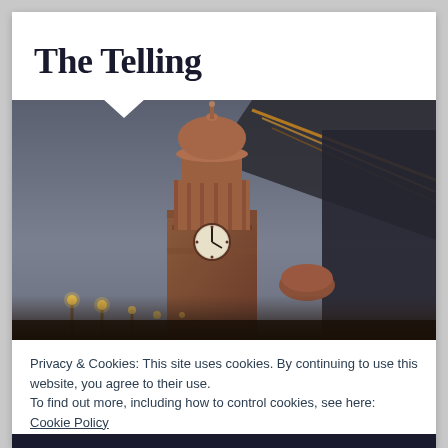The Telling
[Figure (photo): A dark atmospheric photograph of a Victorian-style clock tower (reddish brick) with a domed cap, with blurred light trails from a passing vehicle on the right side, shot at dusk or dawn with a moody grey sky.]
Privacy & Cookies: This site uses cookies. By continuing to use this website, you agree to their use.
To find out more, including how to control cookies, see here: Cookie Policy
Close and accept